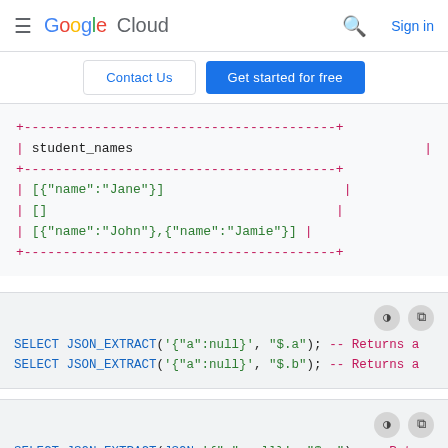Google Cloud — Sign in
[Figure (screenshot): Navigation buttons: Contact Us and Get started for free]
+----------------------------------------+
| student_names                          |
+----------------------------------------+
| [{"name":"Jane"}]                      |
| []                                     |
| [{"name":"John"},{"name":"Jamie"}]     |
+----------------------------------------+
SELECT JSON_EXTRACT('{"a":null}', "$.a"); -- Returns a
SELECT JSON_EXTRACT('{"a":null}', "$.b"); -- Returns a
SELECT JSON_EXTRACT(JSON '{"a":null}', "$.a"); -- Retu